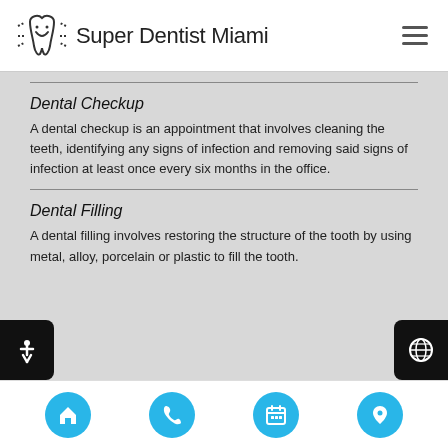Super Dentist Miami
Dental Checkup
A dental checkup is an appointment that involves cleaning the teeth, identifying any signs of infection and removing said signs of infection at least once every six months in the office.
Dental Filling
A dental filling involves restoring the structure of the tooth by using metal, alloy, porcelain or plastic to fill the tooth.